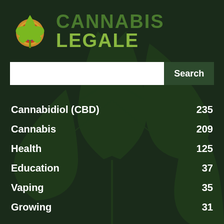[Figure (logo): Cannabis Legale logo with cannabis leaf icon and text CANNABIS LEGALE]
Search
Cannabidiol (CBD)  235
Cannabis  209
Health  125
Education  37
Vaping  35
Growing  31